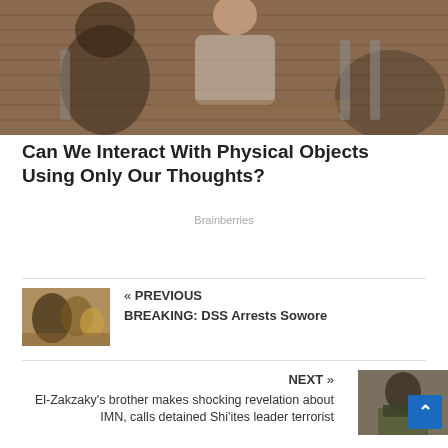[Figure (photo): A woman sitting in a cafe with a brick wall background, holding her face in surprise or excitement. People visible in the foreground and background.]
Can We Interact With Physical Objects Using Only Our Thoughts?
Brainberries
[Figure (photo): Small thumbnail image showing a crowd of protesters at a demonstration.]
« PREVIOUS
BREAKING: DSS Arrests Sowore
NEXT »
El-Zakzaky's brother makes shocking revelation about IMN, calls detained Shi'ites leader terrorist
[Figure (photo): Small thumbnail image of a person, likely El-Zakzaky or related figure.]